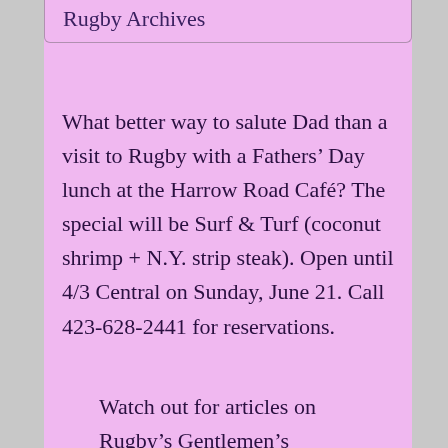Rugby Archives
What better way to salute Dad than a visit to Rugby with a Fathers’ Day lunch at the Harrow Road Café? The special will be Surf & Turf (coconut shrimp + N.Y. strip steak). Open until 4/3 Central on Sunday, June 21. Call 423-628-2441 for reservations.
Watch out for articles on Rugby’s Gentlemen’s